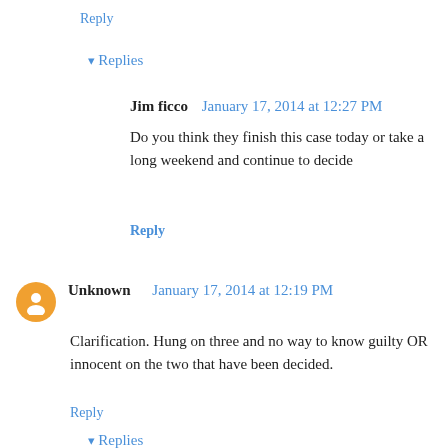Reply
▾ Replies
Jim ficco  January 17, 2014 at 12:27 PM
Do you think they finish this case today or take a long weekend and continue to decide
Reply
Unknown  January 17, 2014 at 12:19 PM
Clarification. Hung on three and no way to know guilty OR innocent on the two that have been decided.
Reply
Replies